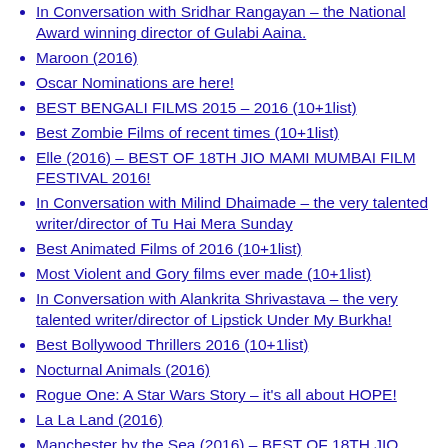In Conversation with Sridhar Rangayan – the National Award winning director of Gulabi Aaina.
Maroon (2016)
Oscar Nominations are here!
BEST BENGALI FILMS 2015 – 2016 (10+1list)
Best Zombie Films of recent times (10+1list)
Elle (2016) – BEST OF 18TH JIO MAMI MUMBAI FILM FESTIVAL 2016!
In Conversation with Milind Dhaimade – the very talented writer/director of Tu Hai Mera Sunday
Best Animated Films of 2016 (10+1list)
Most Violent and Gory films ever made (10+1list)
In Conversation with Alankrita Shrivastava – the very talented writer/director of Lipstick Under My Burkha!
Best Bollywood Thrillers 2016 (10+1list)
Nocturnal Animals (2016)
Rogue One: A Star Wars Story – it's all about HOPE!
La La Land (2016)
Manchester by the Sea (2016) – BEST OF 18TH JIO MAMI MUMBAI FILM FESTIVAL 2016!
Most Influential Films Banned in India (10+1list)
In Conversation with Rohit Mittal – the very talented writer/director of Autohead!
Billy Lynn's Long Halftime Walk (2016)
IN CONVERSATION WITH RIMA DAS AS HER FILM PREMIERES AT THE TALLINN BLACK NIGHTS